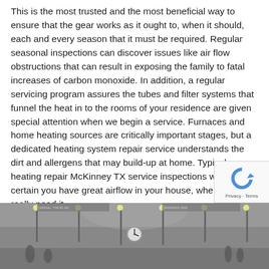This is the most trusted and the most beneficial way to ensure that the gear works as it ought to, when it should, each and every season that it must be required. Regular seasonal inspections can discover issues like air flow obstructions that can result in exposing the family to fatal increases of carbon monoxide. In addition, a regular servicing program assures the tubes and filter systems that funnel the heat in to the rooms of your residence are given special attention when we begin a service. Furnaces and home heating sources are critically important stages, but a dedicated heating system repair service understands the dirt and allergens that may build-up at home. Typical heating repair McKinney TX service inspections will make certain you have great airflow in your house, when you really need it.
[Figure (photo): Black and white photo of a large indoor public space, likely a train station or grand hall, showing architectural details, a clock, lights, and crowds of people.]